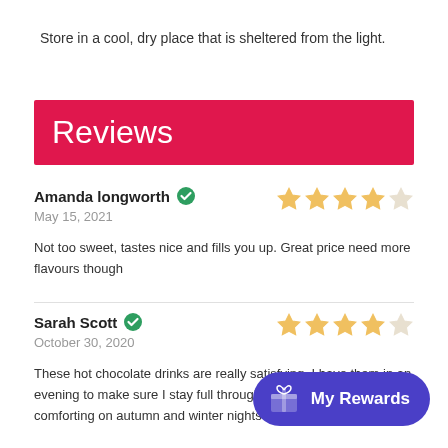Store in a cool, dry place that is sheltered from the light.
Reviews
Amanda longworth
May 15, 2021
★★★★★
Not too sweet, tastes nice and fills you up. Great price need more flavours though
Sarah Scott
October 30, 2020
★★★★★
These hot chocolate drinks are really satisfying. I have them in an evening to make sure I stay full through the n... comforting on autumn and winter nights to...